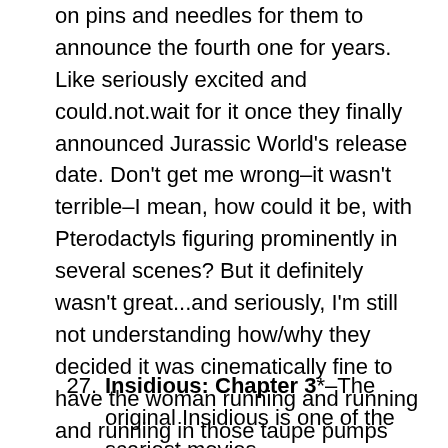on pins and needles for them to announce the fourth one for years. Like seriously excited and could.not.wait for it once they finally announced Jurassic World's release date. Don't get me wrong–it wasn't terrible–I mean, how could it be, with Pterodactyls figuring prominently in several scenes? But it definitely wasn't great...and seriously, I'm still not understanding how/why they decided it was cinematically fine to have the woman running and running and running in those taupe pumps that never got dirty or broken or caused her to break an ankle.
27. Insidious: Chapter 3*–The original Insidious is one of the scariest movies